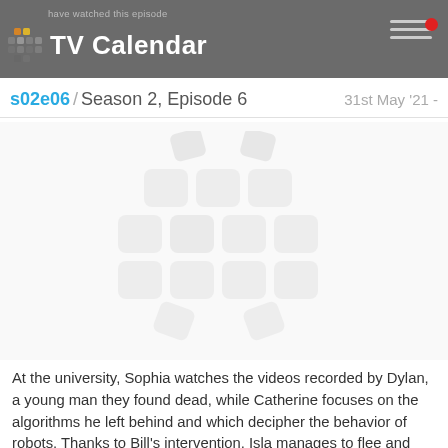have watched this episode
TV Calendar
s02e06 / Season 2, Episode 6  31st May '21 -
[Figure (logo): TV Calendar watermark logo – large faded grid icon in center of page]
At the university, Sophia watches the videos recorded by Dylan, a young man they found dead, while Catherine focuses on the algorithms he left behind and which decipher the behavior of robots. Thanks to Bill's intervention, Isla manages to flee and join her family.